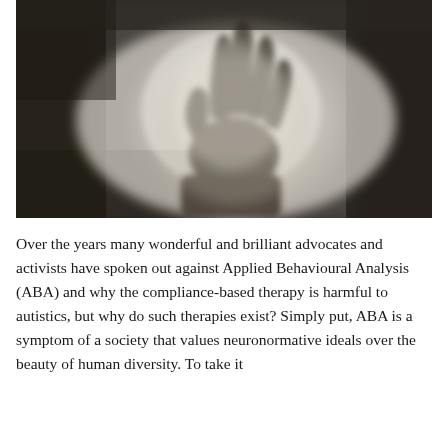[Figure (photo): A dark, moody black and white photograph showing a silhouetted hand pressed against a frosted or misty glass surface, fingers spread wide, with diffuse backlight creating a haunting atmospheric effect.]
Over the years many wonderful and brilliant advocates and activists have spoken out against Applied Behavioural Analysis (ABA) and why the compliance-based therapy is harmful to autistics, but why do such therapies exist? Simply put, ABA is a symptom of a society that values neuronormative ideals over the beauty of human diversity. To take it